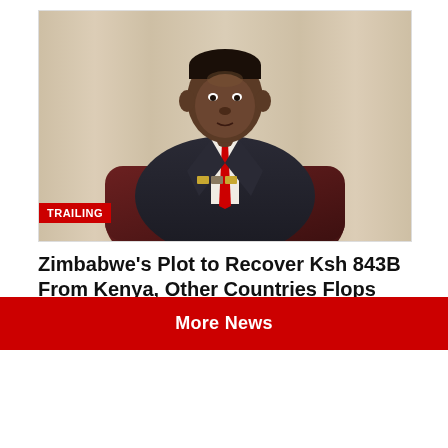[Figure (photo): A man in a dark suit with a red tie and military medals, seated in a brown leather chair, with a light curtained background. A 'TRAILING' badge is overlaid in red at the bottom left of the image.]
Zimbabwe's Plot to Recover Ksh 843B From Kenya, Other Countries Flops
28 August 2022 - 12:06 pm
More News